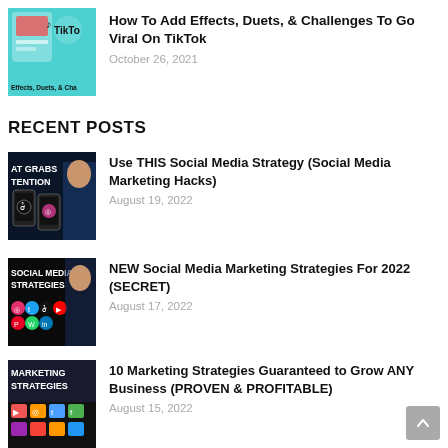[Figure (screenshot): TikTok video thumbnail showing TikTok logo and text 'Effects, Duets, & Cha']
How To Add Effects, Duets, & Challenges To Go Viral On TikTok
October 26, 2021
RECENT POSTS
[Figure (screenshot): Social media thumbnail showing phones with TikTok and Instagram icons, text 'AT GRABS TENTION']
Use THIS Social Media Strategy (Social Media Marketing Hacks)
August 19, 2022
[Figure (screenshot): Social media thumbnail with text 'SOCIAL MEDIA STRATEGIES' and social media icons]
NEW Social Media Marketing Strategies For 2022 (SECRET)
August 17, 2022
[Figure (screenshot): Marketing strategies thumbnail with text 'MARKETING STRATEGIES' and app icons]
10 Marketing Strategies Guaranteed to Grow ANY Business (PROVEN & PROFITABLE)
August 15, 2022